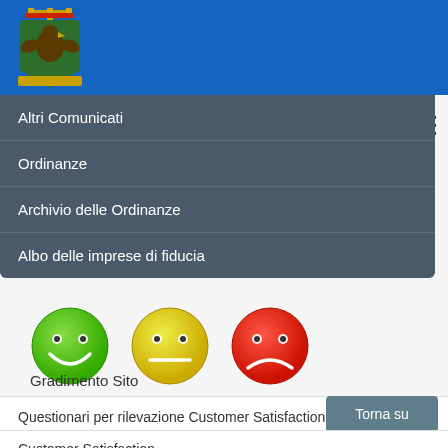[Figure (logo): Italian municipal coat of arms with eagle and crown on blue background]
Altri Comunicati
Ordinanze
Archivio delle Ordinanze
Albo delle imprese di fiducia
[Figure (illustration): Three emoji-style smiley faces: green happy face, yellow neutral face, red sad face]
Gradimento Sito
Questionari per rilevazione Customer Satisfaction
Customer Satisfaction